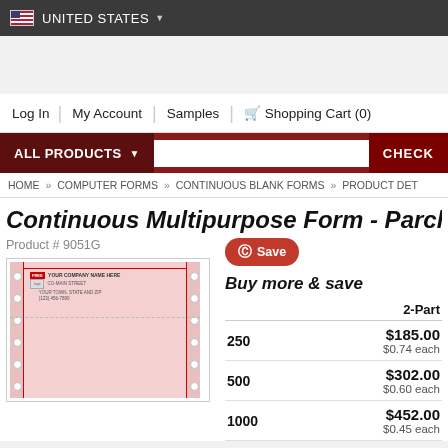UNITED STATES
Log In  |  My Account  |  Samples  |  Shopping Cart (0)
ALL PRODUCTS  CHECK
HOME » COMPUTER FORMS » CONTINUOUS BLANK FORMS » PRODUCT DET
Continuous Multipurpose Form - Parchment
Product # 9051G
Save
Buy more & save
|  | 2-Part |
| --- | --- |
| 250 | $185.00
$0.74 each |
| 500 | $302.00
$0.60 each |
| 1000 | $452.00
$0.45 each |
[Figure (photo): Preview image of a Continuous Multipurpose Form on pink/parchment paper with company name header area, perforation lines, and red border lines.]